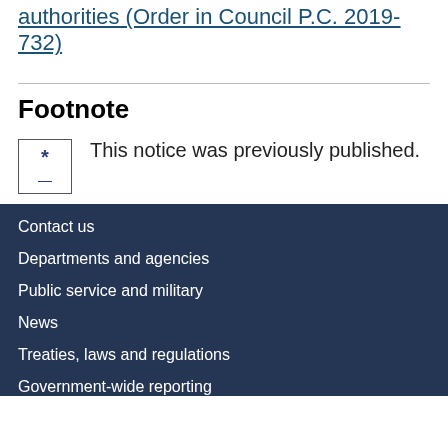authorities (Order in Council P.C. 2019-732)
Footnote
* This notice was previously published.
Contact us
Departments and agencies
Public service and military
News
Treaties, laws and regulations
Government-wide reporting